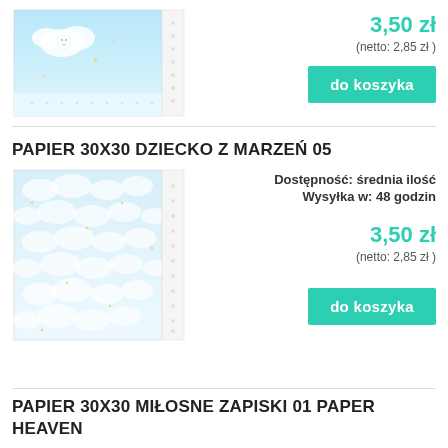[Figure (photo): Product image of decorative paper with blue sky and clouds pattern, top product]
3,50 zł
(netto: 2,85 zł )
do koszyka
PAPIER 30X30 DZIECKO Z MARZEŃ 05
[Figure (photo): Product image of decorative paper with blue cloud pattern, middle product]
Dostępność: średnia ilość
Wysyłka w: 48 godzin
3,50 zł
(netto: 2,85 zł )
do koszyka
PAPIER 30X30 MIŁOSNE ZAPISKI 01 PAPER HEAVEN